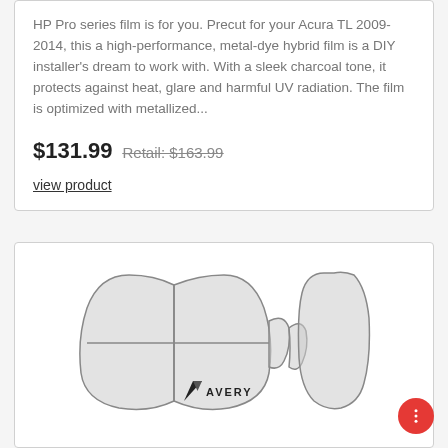HP Pro series film is for you. Precut for your Acura TL 2009-2014, this a high-performance, metal-dye hybrid film is a DIY installer's dream to work with. With a sleek charcoal tone, it protects against heat, glare and harmful UV radiation. The film is optimized with metallized...
$131.99 Retail: $163.99
view product
[Figure (illustration): Window tint film precut kit diagram showing rear window pieces for a car (multiple panel pieces and a separate quarter window piece), with Avery logo at the bottom]